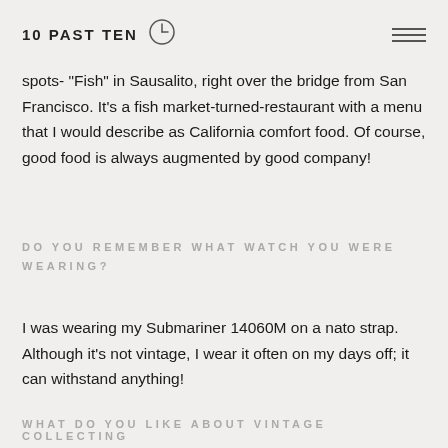10 PAST TEN
spots- "Fish" in Sausalito, right over the bridge from San Francisco. It's a fish market-turned-restaurant with a menu that I would describe as California comfort food. Of course, good food is always augmented by good company!
DO YOU REMEMBER WHAT WATCH YOU WERE WEARING?
I was wearing my Submariner 14060M on a nato strap. Although it's not vintage, I wear it often on my days off; it can withstand anything!
WHAT DO YOU LIKE ABOUT VINTAGE COLLECTING